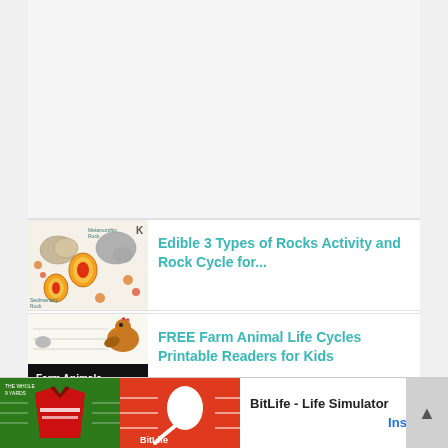[Figure (illustration): Blank/empty upper content area with light gray background]
[Figure (illustration): Thumbnail image for Edible 3 Types of Rocks Activity - shows colorful rock illustrations with labels like Metamorphic Rock, Sedimentary Rock]
Edible 3 Types of Rocks Activity and Rock Cycle for...
[Figure (illustration): Thumbnail image for Farm Animals Life Cycles - shows a hen/chicken with Farm Animals text on black background]
FREE Farm Animal Life Cycles Printable Readers for Kids
[Figure (screenshot): Advertisement banner for BitLife - Life Simulator showing green football jersey ad on left, red BitLife logo on right]
BitLife - Life Simulator
Install!